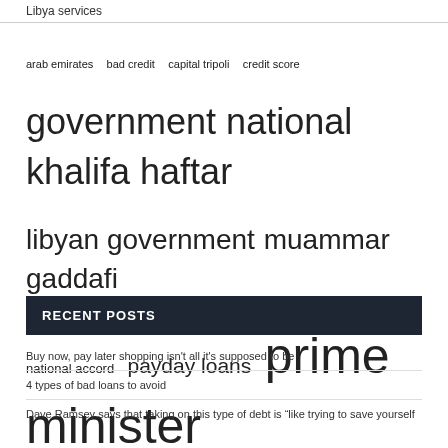Libya services
arab emirates  bad credit  capital tripoli  credit score  government national  khalifa haftar  libyan government  muammar gaddafi  national accord  payday loans  prime minister  short term  united arab  united nations  united states
RECENT POSTS
Buy now, pay later shopping isn't all it's supposed to be
4 types of bad loans to avoid
Dave Ramsey says that taking on this type of debt is “like trying to save yourself